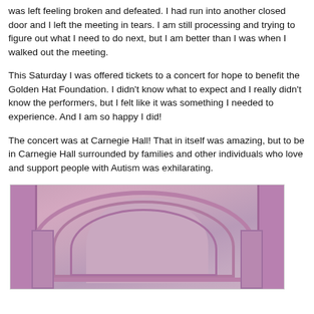was left feeling broken and defeated.  I had run into another closed door and I left the meeting in tears.  I am still processing and trying to figure out what I need to do next, but I am better than I was when I walked out the meeting.
This Saturday I was offered tickets to a concert for hope to benefit the Golden Hat Foundation.  I didn't know what to expect and I really didn't know the performers, but I felt like it was something I needed to experience.  And I am so happy I did!
The concert was at Carnegie Hall! That in itself was amazing, but to be in Carnegie Hall surrounded by families and other individuals who love and support people with Autism was exhilarating.
[Figure (photo): Interior architectural photo of Carnegie Hall showing ornate arched ceiling and decorative moldings, tinted pink/purple.]